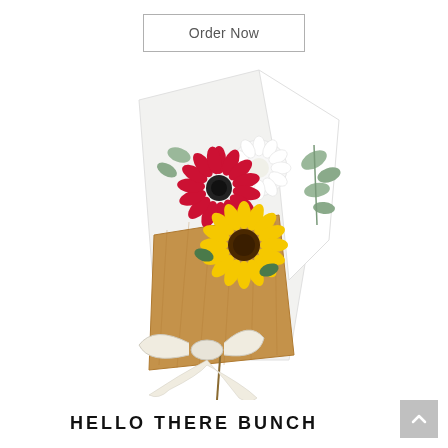Order Now
[Figure (photo): A flower bouquet wrapped in burlap and white paper, containing a red gerbera daisy, yellow sunflower, white chrysanthemums, and eucalyptus greenery, tied with a white ribbon.]
HELLO THERE BUNCH